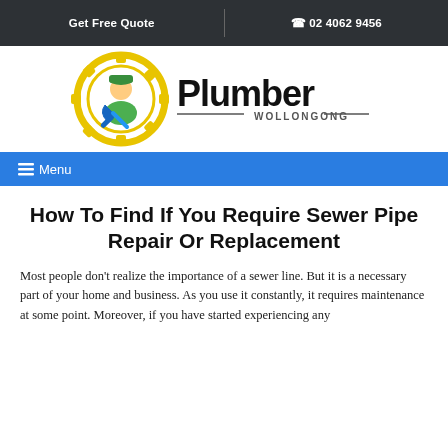Get Free Quote   02 4062 9456
[Figure (logo): Plumber Wollongong logo with gear, plumber character, and text 'Plumber WOLLONGONG']
☰ Menu
How To Find If You Require Sewer Pipe Repair Or Replacement
Most people don't realize the importance of a sewer line. But it is a necessary part of your home and business. As you use it constantly, it requires maintenance at some point. Moreover, if you have started experiencing any